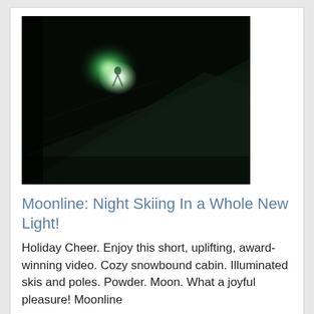[Figure (photo): Night skiing photo: dark mountainside with a glowing light source (skier with illuminated equipment) creating a bright green-white glow against a dark snowy slope]
Moonline: Night Skiing In a Whole New Light!
Holiday Cheer. Enjoy this short, uplifting, award-winning video. Cozy snowbound cabin. Illuminated skis and poles. Powder. Moon. What a joyful pleasure! Moonline
by seniorsskiing — December 22, 2016 — 0 comments — Home Top Box 2
[Figure (screenshot): The Huffington Post website banner/header screenshot showing green navigation bar with THE HUFFINGTON POST logo and navigation links including Politics, Entertainment, Media, World Post, Video, Tech, All Sections]